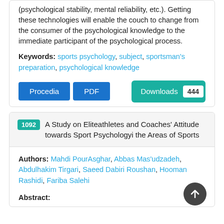(psychological stability, mental reliability, etc.). Getting these technologies will enable the couch to change from the consumer of the psychological knowledge to the immediate participant of the psychological process.
Keywords: sports psychology, subject, sportsman's preparation, psychological knowledge
Procedia  PDF  Downloads 444
1092  A Study on Eliteathletes and Coaches' Attitude towards Sport Psychologyi the Areas of Sports
Authors: Mahdi PourAsghar, Abbas Mas'udzadeh, Abdulhakim Tirgari, Saeed Dabiri Roushan, Hooman Rashidi, Fariba Salehi
Abstract: